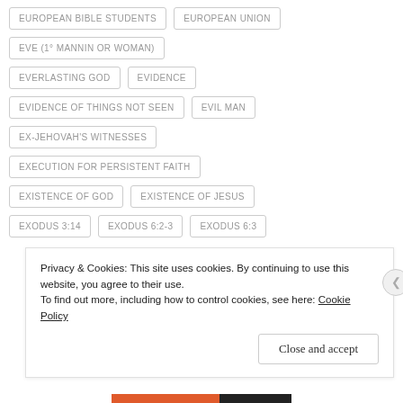EUROPEAN BIBLE STUDENTS
EUROPEAN UNION
EVE (1° MANNIN OR WOMAN)
EVERLASTING GOD
EVIDENCE
EVIDENCE OF THINGS NOT SEEN
EVIL MAN
EX-JEHOVAH'S WITNESSES
EXECUTION FOR PERSISTENT FAITH
EXISTENCE OF GOD
EXISTENCE OF JESUS
EXODUS 3:14
EXODUS 6:2-3
EXODUS 6:3
Privacy & Cookies: This site uses cookies. By continuing to use this website, you agree to their use. To find out more, including how to control cookies, see here: Cookie Policy
Close and accept